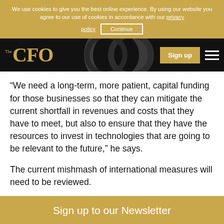We use cookies to give you the best online experience. By using our website you agree to our use of cookies in accordance with our privacy policy
[Figure (logo): The CFO logo in gold text on black background navbar with Sign up button and hamburger menu]
“We need a long-term, more patient, capital funding for those businesses so that they can mitigate the current shortfall in revenues and costs that they have to meet, but also to ensure that they have the resources to invest in technologies that are going to be relevant to the future,” he says.
The current mishmash of international measures will need to be reviewed.
Sign up to our Newsletter